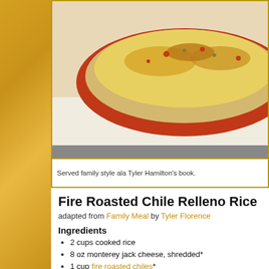[Figure (photo): A baked casserole dish with golden cheesy topping in a red ceramic baking dish, partially visible, shown on a white surface.]
Served family style ala Tyler Hamilton’s book.
Fire Roasted Chile Relleno Rice
adapted from Family Meal by Tyler Florence
Ingredients
2 cups cooked rice
8 oz monterey jack cheese, shredded*
1 cup fire roasted chiles*
2 cups sour cream
1 can condensed cream of chicken soup*
1/2 tsp kosher salt
1/2 tsp black pepper
2 Tbsp panko bread crumbs
1/4 tsp smoked paprika